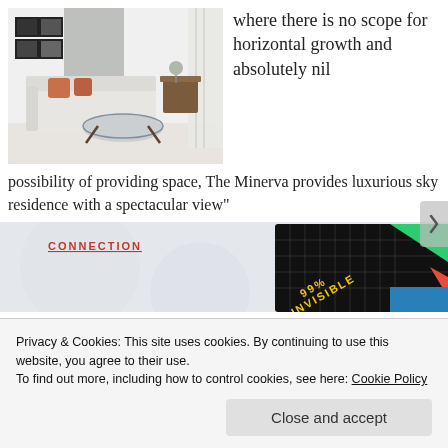[Figure (photo): Interior photo of a modern white living room with L-shaped sofa, orange cushions, glass coffee table, artwork on wall, and sheer curtains]
where there is no scope for horizontal growth and absolutely nil possibility of providing space, The Minerva provides luxurious sky residence with a spectacular view"
[Figure (screenshot): Website section partially visible with a red/coral underlined heading 'CONNECTION' and a book cover showing '99% INVISIBLE' in yellow text on black background with colorful geometric shapes]
Privacy & Cookies: This site uses cookies. By continuing to use this website, you agree to their use.
To find out more, including how to control cookies, see here: Cookie Policy
Close and accept